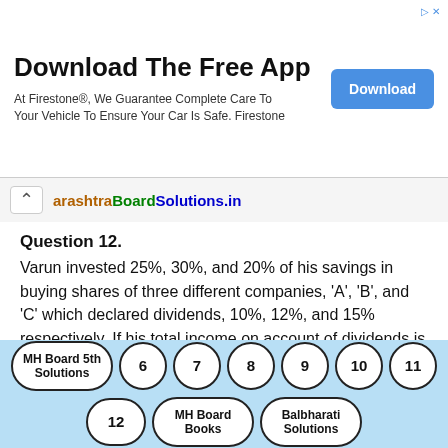[Figure (other): Advertisement banner: 'Download The Free App' with Firestone tagline and a blue Download button]
arashtraBoardSolutions.in
Question 12.
Varun invested 25%, 30%, and 20% of his savings in buying shares of three different companies, 'A', 'B', and 'C' which declared dividends, 10%, 12%, and 15% respectively. If his total income on account of dividends is ₹ 6,370/-, find the amount he invested in buying shares of company 'B'.
Solution:
MH Board 5th Solutions  6  7  8  9  10  11  12  MH Board Books  Balbharati Solutions